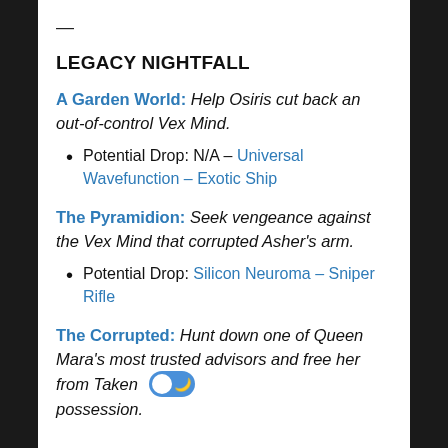—
LEGACY NIGHTFALL
A Garden World: Help Osiris cut back an out-of-control Vex Mind.
Potential Drop: N/A – Universal Wavefunction – Exotic Ship
The Pyramidion: Seek vengeance against the Vex Mind that corrupted Asher's arm.
Potential Drop: Silicon Neuroma – Sniper Rifle
The Corrupted: Hunt down one of Queen Mara's most trusted advisors and free her from Taken possession.